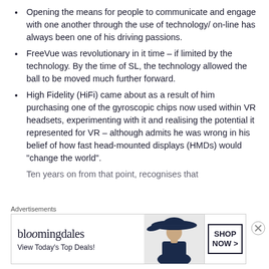Opening the means for people to communicate and engage with one another through the use of technology/ on-line has always been one of his driving passions.
FreeVue was revolutionary in it time – if limited by the technology. By the time of SL, the technology allowed the ball to be moved much further forward.
High Fidelity (HiFi) came about as a result of him purchasing one of the gyroscopic chips now used within VR headsets, experimenting with it and realising the potential it represented for VR – although admits he was wrong in his belief of how fast head-mounted displays (HMDs) would "change the world".
Ten years on from that point, recognises that
Advertisements
[Figure (other): Bloomingdale's advertisement banner with logo, 'View Today's Top Deals!' text, woman in wide-brim hat, and 'SHOP NOW >' button]